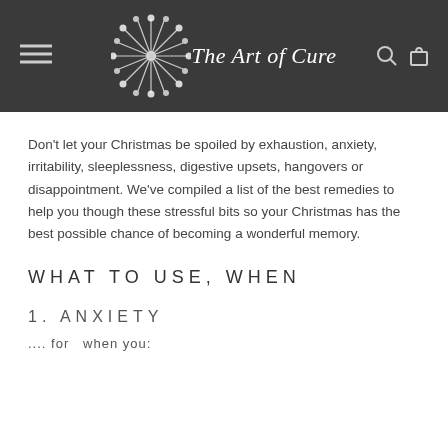The Art of Cure
Don't let your Christmas be spoiled by exhaustion, anxiety, irritability, sleeplessness, digestive upsets, hangovers or disappointment. We've compiled a list of the best remedies to help you though these stressful bits so your Christmas has the best possible chance of becoming a wonderful memory.
WHAT TO USE, WHEN
1. ANXIETY
.... for  when you: